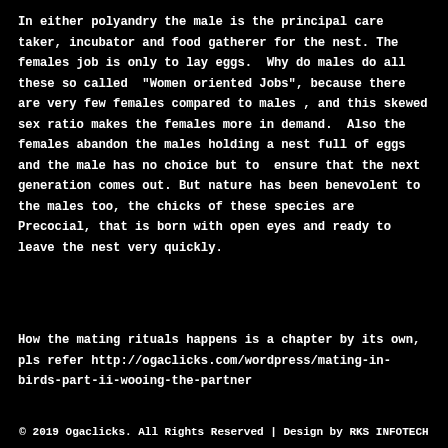In either polyandry the male is the principal care taker, incubator and food gatherer for the nest. The females job is only to lay eggs.  Why do males do all these so called  "Women oriented Jobs", because there are very few females compared to males , and this skewed sex ratio makes the females more in demand.  Also the females abandon the males holding a nest full of eggs and the male has no choice but to  ensure that the next generation comes out. But nature has been benevolent to the males too, the chicks of these species are Precocial, that is born with open eyes and ready to leave the nest very quickly.
How the mating rituals happens is a chapter by its own, pls refer http://ogaclicks.com/wordpress/mating-in-birds-part-ii-wooing-the-partner
© 2019 Ogaclicks. All Rights Reserved | Design by RKS INFOTECH